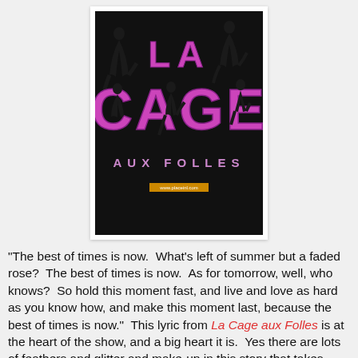[Figure (illustration): Poster for 'La Cage aux Folles' musical. Dark/black background with large pink neon-style lettering reading 'LA' on top and 'CAGE' below, with silhouetted performer figures posing in and around the letters. Below reads 'AUX FOLLES' in spaced pink letters. A small URL appears at the bottom of the poster. The poster is framed in white.]
"The best of times is now.  What's left of summer but a faded rose?  The best of times is now.  As for tomorrow, well, who knows?  So hold this moment fast, and live and love as hard as you know how, and make this moment last, because the best of times is now."  This lyric from La Cage aux Folles is at the heart of the show, and a big heart it is.  Yes there are lots of feathers and glitter and make-up in this story that takes place in a nightclub featuring men in drag, but underneath it all is a beautiful, simple, family love story.  It may be an unconventional family by society's standards, but the love and support they share are universal.